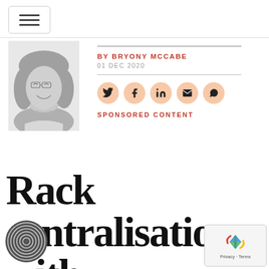Navigation menu
[Figure (photo): Black and white portrait photo of Bryony McCabe, a smiling woman with shoulder-length blonde hair and glasses]
BY BRYONY MCCABE
01 DEC 2020
SPONSORED CONTENT
Rack centralisation with